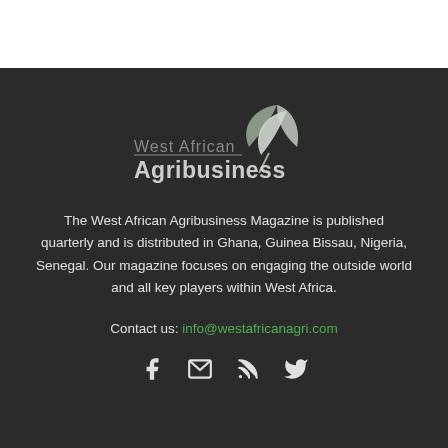[Figure (logo): West African Agribusiness Magazine logo with leaf/plant graphic and text 'West African Agribusiness']
The West African Agribusiness Magazine is published quarterly and is distributed in Ghana, Guinea Bissau, Nigeria, Senegal. Our magazine focuses on engaging the outside world and all key players within West Africa.
Contact us: info@westafricanagri.com
[Figure (infographic): Social media icons: Facebook, Email/Envelope, RSS feed, Twitter]